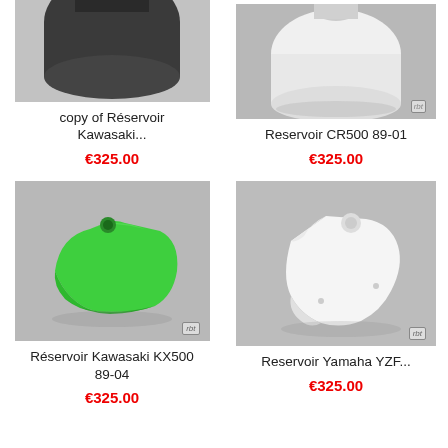[Figure (photo): Cropped top view of a dark/black motorcycle fuel tank (Kawasaki), partial image cut at top]
copy of Réservoir Kawasaki...
€325.00
[Figure (photo): Cropped top view of a white motorcycle fuel tank (CR500), partial image cut at top, on gray background with rbt logo]
Reservoir CR500 89-01
€325.00
[Figure (photo): Green plastic motorcycle fuel tank (Kawasaki KX500) on gray background with rbt logo]
Réservoir Kawasaki KX500 89-04
€325.00
[Figure (photo): White plastic motorcycle fuel tank (Yamaha YZF) on gray background with rbt logo]
Reservoir Yamaha YZF...
€325.00